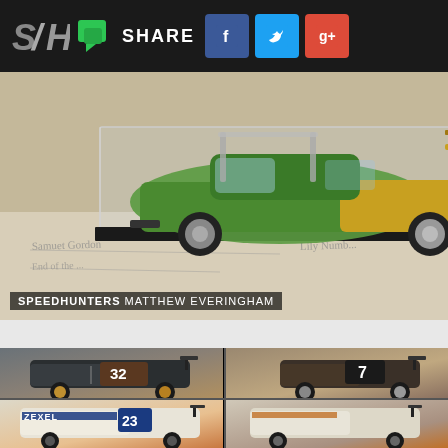SH SHARE [Facebook] [Twitter] [Google+]
[Figure (photo): Green and gold die-cast model car in a clear display case, sitting on a document with handwritten text. Speedhunters watermark by Matthew Everingham in bottom left corner.]
[Figure (photo): Four small die-cast model race cars displayed in grid: top-left shows car #32 dark gray/brown Nissan GT-R, top-right shows car #7 brown Nissan GT-R, bottom-left shows white Nissan GT-R with ZEXEL #23 livery, bottom-right shows white Nissan GT-R with racing livery.]